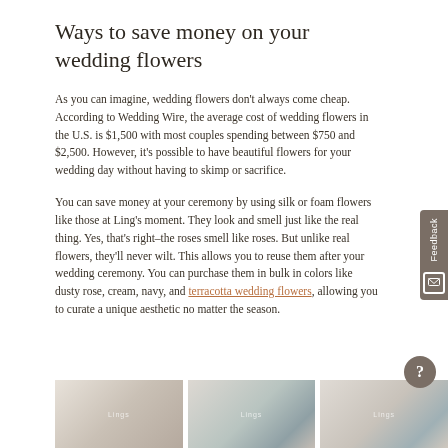Ways to save money on your wedding flowers
As you can imagine, wedding flowers don't always come cheap. According to Wedding Wire, the average cost of wedding flowers in the U.S. is $1,500 with most couples spending between $750 and $2,500. However, it's possible to have beautiful flowers for your wedding day without having to skimp or sacrifice.
You can save money at your ceremony by using silk or foam flowers like those at Ling's moment. They look and smell just like the real thing. Yes, that's right–the roses smell like roses. But unlike real flowers, they'll never wilt. This allows you to reuse them after your wedding ceremony. You can purchase them in bulk in colors like dusty rose, cream, navy, and terracotta wedding flowers, allowing you to curate a unique aesthetic no matter the season.
[Figure (photo): Three side-by-side photos showing wedding flowers or decorations, partially visible at the bottom of the page]